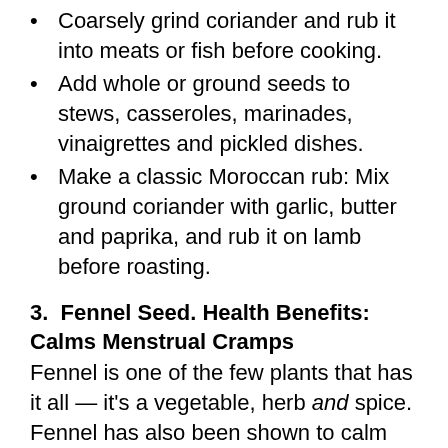Coarsely grind coriander and rub it into meats or fish before cooking.
Add whole or ground seeds to stews, casseroles, marinades, vinaigrettes and pickled dishes.
Make a classic Moroccan rub: Mix ground coriander with garlic, butter and paprika, and rub it on lamb before roasting.
3.  Fennel Seed. Health Benefits: Calms Menstrual Cramps
Fennel is one of the few plants that has it all — it's a vegetable, herb and spice. Fennel has also been shown to calm colic in babies, and studies have shows Fennel Seed helps reduce cramps and inflammation associated with menstrual cramps.
More details here...